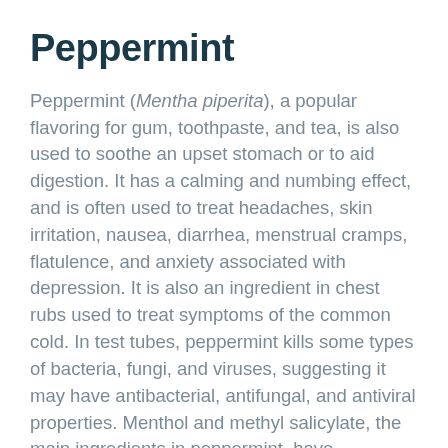Peppermint
Peppermint (Mentha piperita), a popular flavoring for gum, toothpaste, and tea, is also used to soothe an upset stomach or to aid digestion. It has a calming and numbing effect, and is often used to treat headaches, skin irritation, nausea, diarrhea, menstrual cramps, flatulence, and anxiety associated with depression. It is also an ingredient in chest rubs used to treat symptoms of the common cold. In test tubes, peppermint kills some types of bacteria, fungi, and viruses, suggesting it may have antibacterial, antifungal, and antiviral properties. Menthol and methyl salicylate, the main ingredients in peppermint, have antispasmodic effects, with calming effects on the gastrointestinal tract. Several studies support the use of peppermint for